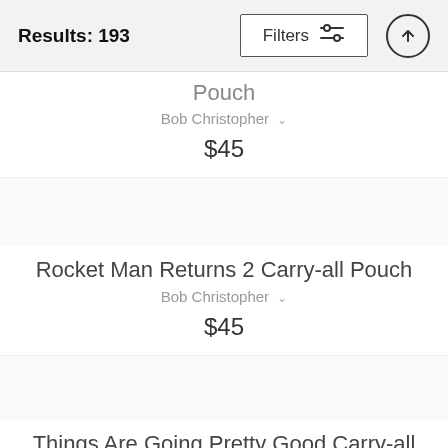Results: 193  Filters
Pouch
Bob Christopher
$45
Rocket Man Returns 2 Carry-all Pouch
Bob Christopher
$45
Things Are Going Pretty Good Carry-all Pouch
Bob Christopher
$45